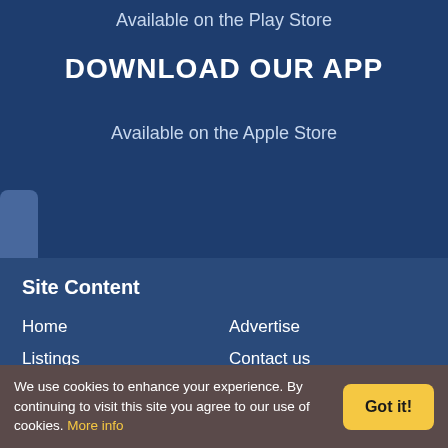Available on the Play Store
DOWNLOAD OUR APP
Available on the Apple Store
Site Content
Home
Advertise
Listings
Contact us
Events
FAQ
Classifieds
Sitemap
We use cookies to enhance your experience. By continuing to visit this site you agree to our use of cookies. More info